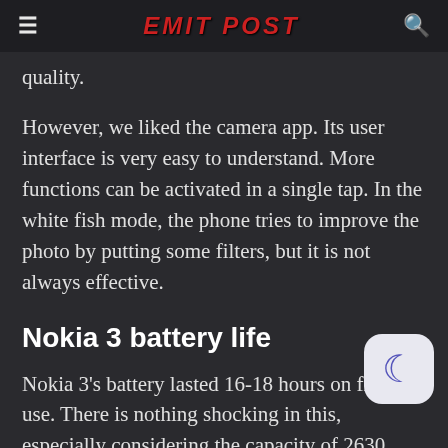EMIT POST
quality.
However, we liked the camera app. Its user interface is very easy to understand. More functions can be activated in a single tap. In the white fish mode, the phone tries to improve the photo by putting some filters, but it is not always effective.
Nokia 3 battery life
Nokia 3's battery lasted 16-18 hours on frozen use. There is nothing shocking in this, especially considering the capacity of 2630 mAh. We used the phone for about a week and we can say that the phone has given better battery life only if not too